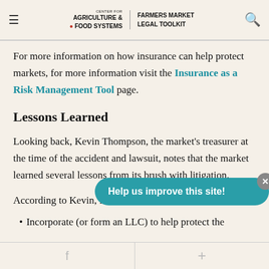CENTER FOR AGRICULTURE & FOOD SYSTEMS | FARMERS MARKET LEGAL TOOLKIT
For more information on how insurance can help protect markets, for more information visit the Insurance as a Risk Management Tool page.
Lessons Learned
Looking back, Kevin Thompson, the market's treasurer at the time of the accident and lawsuit, notes that the market learned several lessons from its brush with litigation.
According to Kevin, far...
Incorporate (or form an LLC) to help protect the
f  +